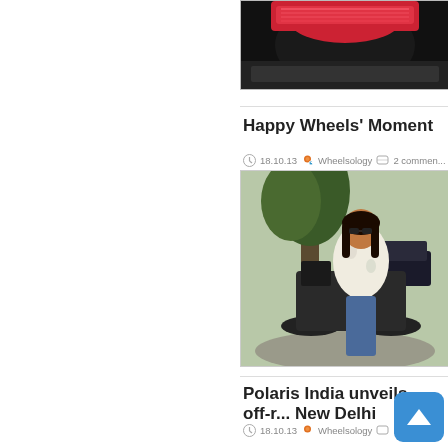[Figure (photo): Partial view of a motorcycle tail light, red and black, cropped at top]
Happy Wheels' Moment
18.10.13  Wheelsology  2 comments
[Figure (photo): A woman in a floral top standing next to a motorcycle outdoors with trees in the background]
Polaris India unveils off-r... New Delhi
18.10.13  Wheelsology  No comm...